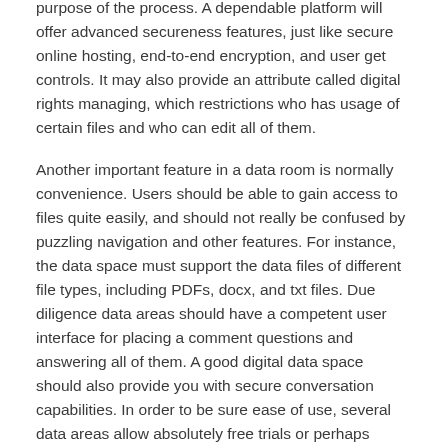purpose of the process. A dependable platform will offer advanced secureness features, just like secure online hosting, end-to-end encryption, and user get controls. It may also provide an attribute called digital rights managing, which restrictions who has usage of certain files and who can edit all of them.
Another important feature in a data room is normally convenience. Users should be able to gain access to files quite easily, and should not really be confused by puzzling navigation and other features. For instance, the data space must support the data files of different file types, including PDFs, docx, and txt files. Due diligence data areas should have a competent user interface for placing a comment questions and answering all of them. A good digital data space should also provide you with secure conversation capabilities. In order to be sure ease of use, several data areas allow absolutely free trials or perhaps demos.
A data room's get control and digital privileges management features are essential to make certain that all paperwork remain guarded during a due diligence process. They must also offer advanced security features like auto watermarking, limited viewing setting, and safeguarded spreadsheet browsing. Comprehensive get policies, antivirus security, and user-level access control are also essential. The details room should have a detailed user authorization profile and track individual activities